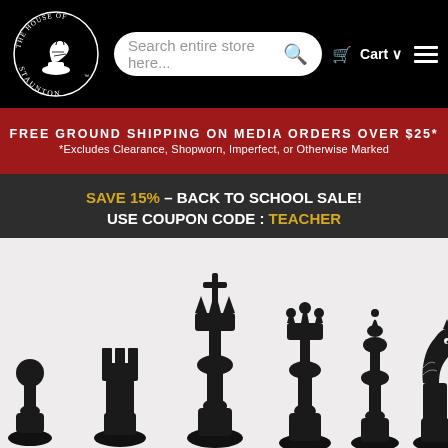The House of Staunton — Cart — Search entire store here...
FREE GROUND SHIPPING ON MEDIA ORDERS OVER $25*
*Excludes Clearance, Shopworn, Imperfect, or Otherwise Marked
SAVE 15% – BACK TO SCHOOL SALE! USE COUPON CODE : TEACHER
[Figure (photo): Chess pieces (pawn, rook, king, queen, bishop, knight) arranged in ascending height order on a light grey background]